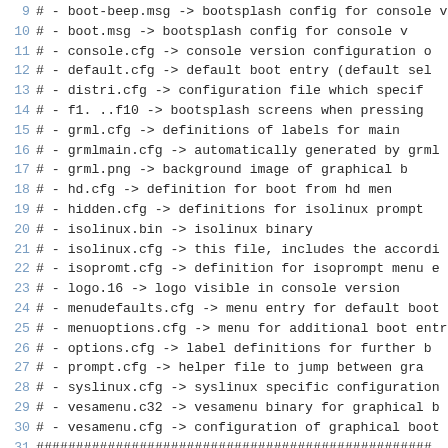Code listing lines 9-35 showing isolinux configuration file descriptions
9  # - boot-beep.msg    -> bootsplash config for console v
10 # - boot.msg         -> bootsplash config for console v
11 # - console.cfg      -> console version configuration o
12 # - default.cfg      -> default boot entry (default sel
13 # - distri.cfg       -> configuration file which specif
14 # - f1. ..f10        -> bootsplash screens when pressing
15 # - grml.cfg         -> definitions of labels for main
16 # - grmlmain.cfg     -> automatically generated by grml
17 # - grml.png         -> background image of graphical b
18 # - hd.cfg           -> definition for boot from hd men
19 # - hidden.cfg       -> definitions for isolinux prompt
20 # - isolinux.bin     -> isolinux binary
21 # - isolinux.cfg     -> this file, includes the accordi
22 # - isopromt.cfg     -> definition for isoprompt menu e
23 # - logo.16          -> logo visible in console version
24 # - menudefaults.cfg -> menu entry for default boot mode
25 # - menuoptions.cfg  -> menu for additional boot entries
26 # - options.cfg      -> label definitions for further b
27 # - prompt.cfg       -> helper file to jump between gra
28 # - syslinux.cfg     -> syslinux specific configuration
29 # - vesamenu.c32     -> vesamenu binary for graphical b
30 # - vesamenu.cfg     -> configuration of graphical boot
31 ##################################################
32 # Shortcut keys of vesamenu bootsplash
33 #
34 # Instructions: Just press the specified key to jump to
35 #               For example press 'i' to select the 'Is